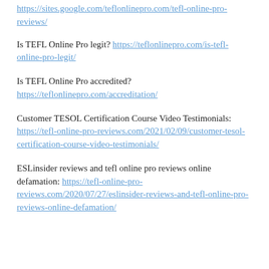https://sites.google.com/teflonlinepro.com/tefl-online-pro-reviews/
Is TEFL Online Pro legit? https://teflonlinepro.com/is-tefl-online-pro-legit/
Is TEFL Online Pro accredited? https://teflonlinepro.com/accreditation/
Customer TESOL Certification Course Video Testimonials: https://tefl-online-pro-reviews.com/2021/02/09/customer-tesol-certification-course-video-testimonials/
ESLinsider reviews and tefl online pro reviews online defamation: https://tefl-online-pro-reviews.com/2020/07/27/eslinsider-reviews-and-tefl-online-pro-reviews-online-defamation/